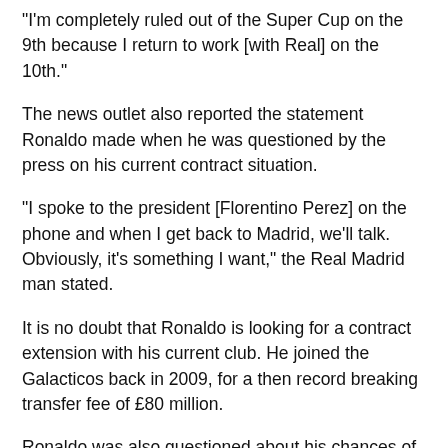“I’m completely ruled out of the Super Cup on the 9th because I return to work [with Real] on the 10th.”
The news outlet also reported the statement Ronaldo made when he was questioned by the press on his current contract situation.
“I spoke to the president [Florentino Perez] on the phone and when I get back to Madrid, we’ll talk. Obviously, it’s something I want,” the Real Madrid man stated.
It is no doubt that Ronaldo is looking for a contract extension with his current club. He joined the Galacticos back in 2009, for a then record breaking transfer fee of £80 million.
Ronaldo was also questioned about his chances of winning this year’s FIFA Ballon d’Or award.
“It’s out of my hands,” Ronaldo explained. “But I’ll admit that I’m in a good position given that I won the Champions League and the European Championships.”